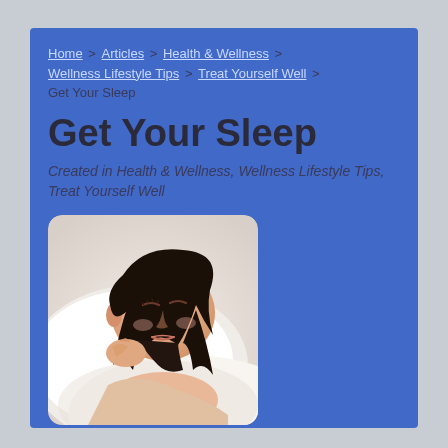Home > Articles > Health & Wellness > Wellness Lifestyle Tips > Treat Yourself Well > Get Your Sleep
Get Your Sleep
Created in Health & Wellness, Wellness Lifestyle Tips, Treat Yourself Well
[Figure (photo): A woman with dark hair sleeping peacefully on white pillows, wearing a white top]
Research suggests that the amount and quality of